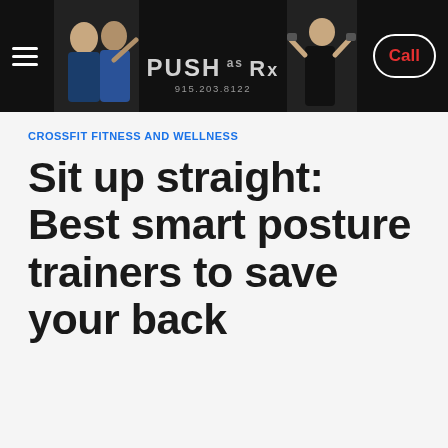PUSH as Rx | 915.203.8122 | Call
CROSSFIT FITNESS AND WELLNESS
Sit up straight: Best smart posture trainers to save your back